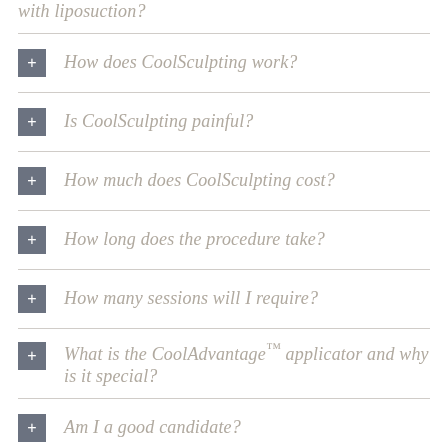with liposuction?
How does CoolSculpting work?
Is CoolSculpting painful?
How much does CoolSculpting cost?
How long does the procedure take?
How many sessions will I require?
What is the CoolAdvantage™ applicator and why is it special?
Am I a good candidate?
How much does the CoolSculpting